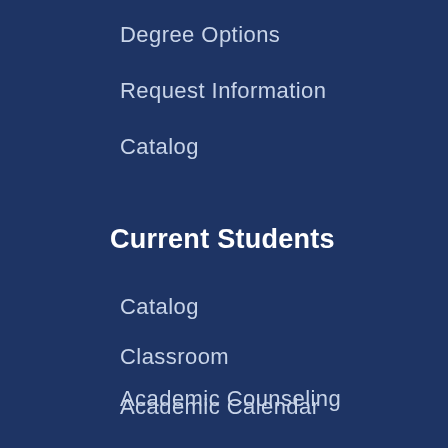Degree Options
Request Information
Catalog
Current Students
Catalog
Classroom
Academic Calendar
Academic Counseling
About